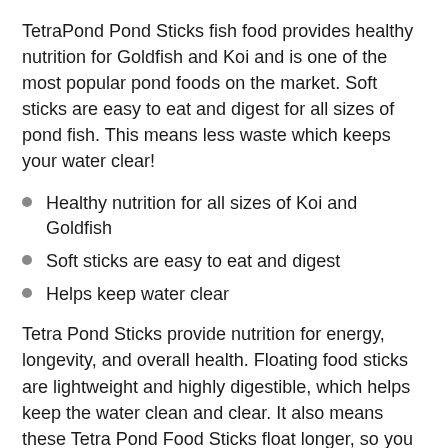TetraPond Pond Sticks fish food provides healthy nutrition for Goldfish and Koi and is one of the most popular pond foods on the market. Soft sticks are easy to eat and digest for all sizes of pond fish. This means less waste which keeps your water clear!
Healthy nutrition for all sizes of Koi and Goldfish
Soft sticks are easy to eat and digest
Helps keep water clear
Tetra Pond Sticks provide nutrition for energy, longevity, and overall health. Floating food sticks are lightweight and highly digestible, which helps keep the water clean and clear. It also means these Tetra Pond Food Sticks float longer, so you can enjoy watching fish feed on the waters surface.
Feeding Guide: Feed at least two to thee times daily, only as much food as your fish will consume within five minutes. When water temperature is below 50Ã‚Â°F pond fish should be fed a wheat germ or cool water diet. They should not be fed